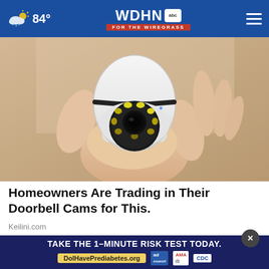84° WDHN ABC FOR THE WIREGRASS
[Figure (photo): A hand holding a small white dome-style security camera with a circular lens array and LED lights, viewed from above against a light background.]
Homeowners Are Trading in Their Doorbell Cams for This.
Keilini.com
[Figure (infographic): Advertisement banner: TAKE THE 1-MINUTE RISK TEST TODAY. DolHavePrediabetes.org. Logos: ad council, AMA, CDC.]